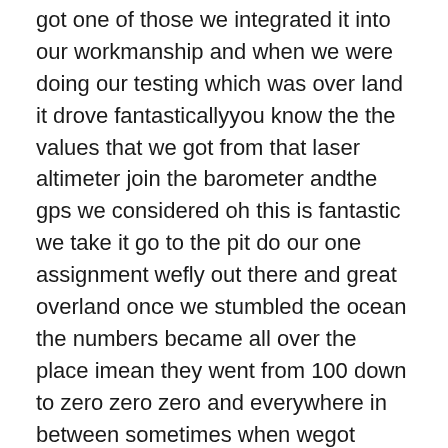got one of those we integrated it into our workmanship and when we were doing our testing which was over land it drove fantasticallyyou know the the values that we got from that laser altimeter join the barometer andthe gps we considered oh this is fantastic we take it go to the pit do our one assignment wefly out there and great overland once we stumbled the ocean the numbers became all over the place imean they went from 100 down to zero zero zero and everywhere in between sometimes when wegot lower to the water and we created fairly ruffling with our prop outcome we would get somevalues but they're not continuous and coherent um so we needed to find a you are familiar with a differentmethod for accurately setting that straddle between us and the ocean face we looked at other lightour wander finders potentially exercising different wavelengths of light different strengths we looked atsonar fortunately sonar's got a very short compas and then onto radar data and what we had